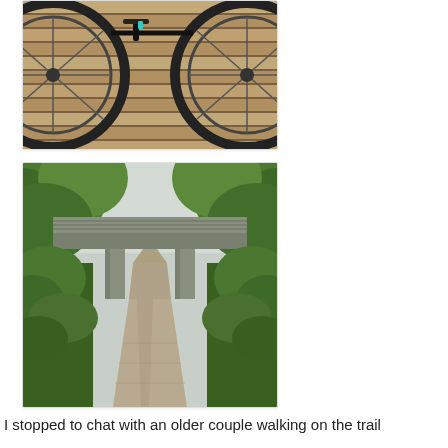[Figure (photo): Partial view of a bicycle on a wooden deck/boardwalk surface, showing the wheels and frame from above.]
[Figure (photo): A gravel trail/path lined with dense green trees and vegetation on both sides, with a concrete overpass bridge spanning across the trail in the middle distance. Overcast sky visible above.]
I stopped to chat with an older couple walking on the trail